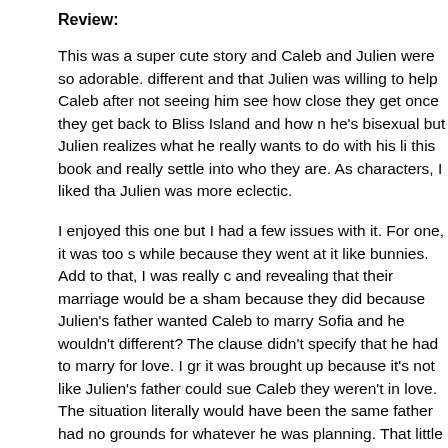Review:
This was a super cute story and Caleb and Julien were so adorable. different and that Julien was willing to help Caleb after not seeing him see how close they get once they get back to Bliss Island and how n he's bisexual but Julien realizes what he really wants to do with his li this book and really settle into who they are. As characters, I liked tha Julien was more eclectic.
I enjoyed this one but I had a few issues with it. For one, it was too s while because they went at it like bunnies. Add to that, I was really c and revealing that their marriage would be a sham because they did because Julien's father wanted Caleb to marry Sofia and he wouldn't different? The clause didn't specify that he had to marry for love. I gr it was brought up because it's not like Julien's father could sue Caleb they weren't in love. The situation literally would have been the same father had no grounds for whatever he was planning. That little tidbit brought up over and over again. Add to that, if Caleb and Julien wan why not make the contract look like a pre-nup? Just in case they wer sounded just like a pre-nup could be and no one would have thought nup.